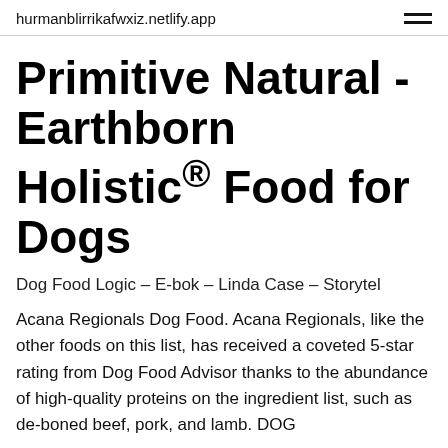hurmanblirrikafwxiz.netlify.app
Primitive Natural - Earthborn Holistic® Food for Dogs
Dog Food Logic – E-bok – Linda Case – Storytel
Acana Regionals Dog Food. Acana Regionals, like the other foods on this list, has received a coveted 5-star rating from Dog Food Advisor thanks to the abundance of high-quality proteins on the ingredient list, such as de-boned beef, pork, and lamb. DOG